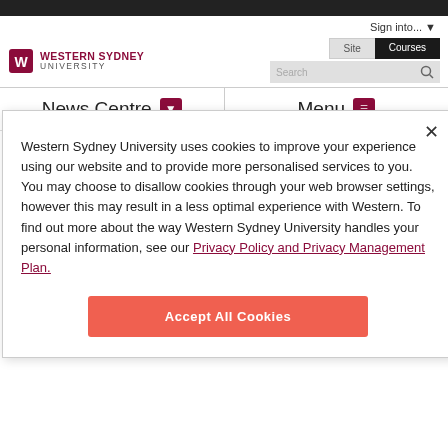[Figure (logo): Western Sydney University logo with shield icon and text]
[Figure (screenshot): Site/Courses search tabs with search input box]
Sign into... ▼
News Centre
Menu
Western Sydney University uses cookies to improve your experience using our website and to provide more personalised services to you. You may choose to disallow cookies through your web browser settings, however this may result in a less optimal experience with Western. To find out more about the way Western Sydney University handles your personal information, see our Privacy Policy and Privacy Management Plan.
Accept All Cookies